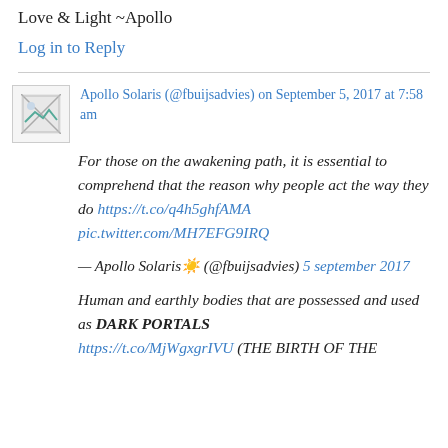Love & Light ~Apollo
Log in to Reply
Apollo Solaris (@fbuijsadvies) on September 5, 2017 at 7:58 am
For those on the awakening path, it is essential to comprehend that the reason why people act the way they do https://t.co/q4h5ghfAMA pic.twitter.com/MH7EFG9IRQ
— Apollo Solaris☀️ (@fbuijsadvies) 5 september 2017
Human and earthly bodies that are possessed and used as DARK PORTALS https://t.co/MjWgxgrIVU (THE BIRTH OF THE